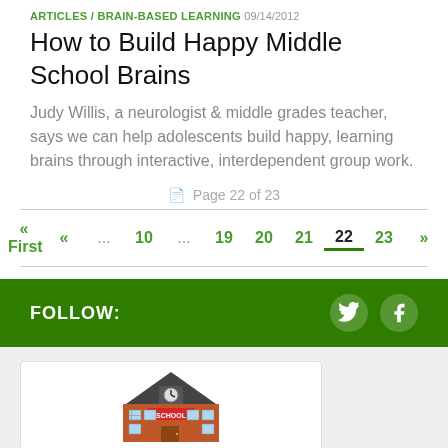ARTICLES / BRAIN-BASED LEARNING 09/14/2012
How to Build Happy Middle School Brains
Judy Willis, a neurologist & middle grades teacher, says we can help adolescents build happy, learning brains through interactive, interdependent group work.
Page 22 of 23
« First « ... 10 ... 19 20 21 22 23 »
FOLLOW:
[Figure (illustration): School building illustration with clock and SCHOOL sign on a red/orange brick building with dark roof, set against a white card background]